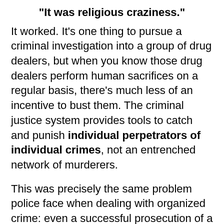"It was religious craziness."
It worked. It's one thing to pursue a criminal investigation into a group of drug dealers, but when you know those drug dealers perform human sacrifices on a regular basis, there's much less of an incentive to bust them. The criminal justice system provides tools to catch and punish individual perpetrators of individual crimes, not an entrenched network of murderers.
This was precisely the same problem police face when dealing with organized crime: even a successful prosecution of a top Mafia leader does nothing to change the core problem. That same Mafia leader still has hundreds of employees and pervasive influence. Cops who fight the Mafia, even the legendary Elliot Ness, never succeed in